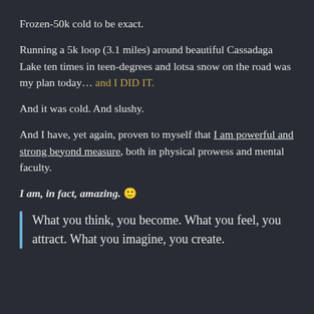Frozen-50k cold to be exact.
Running a 5k loop (3.1 miles) around beautiful Cassadaga Lake ten times in teen-degrees and lotsa snow on the road was my plan today… and I DID IT.
And it was cold. And slushy.
And I have, yet again, proven to myself that I am powerful and strong beyond measure, both in physical prowess and mental faculty.
I am, in fact, amazing. 🙂
What you think, you become. What you feel, you attract. What you imagine, you create.